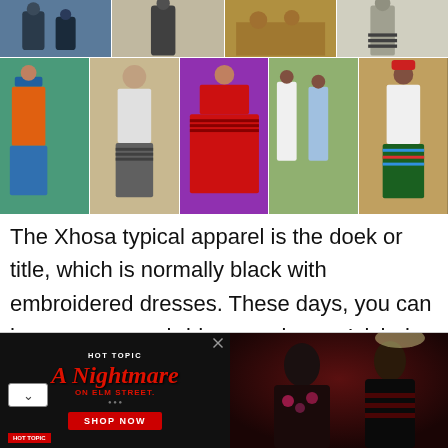[Figure (photo): A collage of two rows of photos showing people wearing traditional Xhosa attire — colorful embroidered dresses, beaded accessories, doeks/head wraps, and Isicholo hats.]
The Xhosa typical apparel is the doek or title, which is normally black with embroidered dresses. These days, you can have women or brides carrying an Isicholo hat as well. Beaded add-ons such as the beaded cape, beaded physique jacket, beaded headband, beaded piece, beaded cape, and the beaded wand
[Figure (photo): Advertisement banner for Hot Topic featuring 'A Nightmare on Elm Street' merchandise. Left side shows movie title text in red on black background with a 'Shop Now' button. Right side shows two people wearing Nightmare on Elm Street themed apparel.]